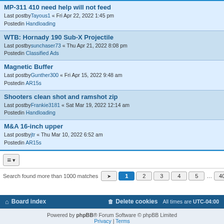MP-311 410 need help will not feed
Last postbyTayous1 « Fri Apr 22, 2022 1:45 pm
Postedin Handloading
WTB: Hornady 190 Sub-X Projectile
Last postbysunchaser73 « Thu Apr 21, 2022 8:08 pm
Postedin Classified Ads
Magnetic Buffer
Last postbyGunther300 « Fri Apr 15, 2022 9:48 am
Postedin AR15s
Shooters clean shot and ramshot zip
Last postbyFrankie3181 « Sat Mar 19, 2022 12:14 am
Postedin Handloading
M&A 16-inch upper
Last postbyjtr « Thu Mar 10, 2022 6:52 am
Postedin AR15s
Search found more than 1000 matches  1 2 3 4 5 … 40
Board index   Delete cookies   All times are UTC-04:00
Powered by phpBB® Forum Software © phpBB Limited
Privacy | Terms